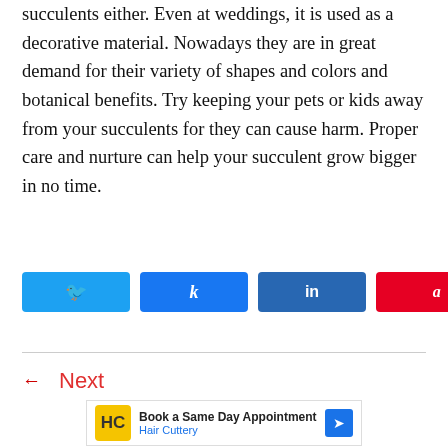succulents either. Even at weddings, it is used as a decorative material. Nowadays they are in great demand for their variety of shapes and colors and botanical benefits. Try keeping your pets or kids away from your succulents for they can cause harm. Proper care and nurture can help your succulent grow bigger in no time.
[Figure (infographic): Social share buttons: Twitter (bird icon), Share (f icon), LinkedIn (in icon), Pinterest (pin icon) with count 1]
← Next
[Figure (infographic): Advertisement banner: Book a Same Day Appointment - Hair Cuttery, with HC logo and navigation arrow]